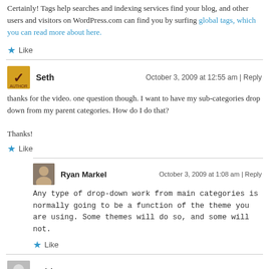Certainly! Tags help searches and indexing services find your blog, and other users and visitors on WordPress.com can find you by surfing global tags, which you can read more about here.
Like
Seth — October 3, 2009 at 12:55 am | Reply
thanks for the video. one question though. I want to have my sub-categories drop down from my parent categories. How do I do that?

Thanks!
Like
Ryan Markel — October 3, 2009 at 1:08 am | Reply
Any type of drop-down work from main categories is normally going to be a function of the theme you are using. Some themes will do so, and some will not.
Like
Adrian — November 6, 2009 at 8:28 pm | Reply